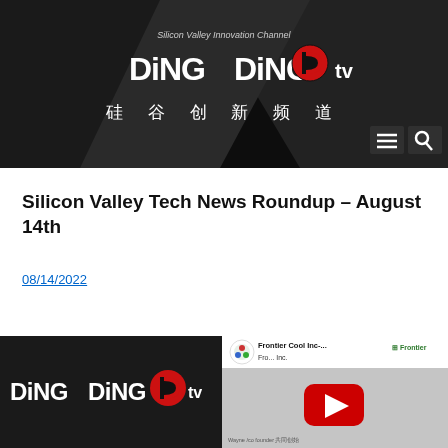[Figure (logo): DingDing TV Silicon Valley Innovation Channel banner logo with Chinese text 硅谷创新频道 on dark background]
Silicon Valley Tech News Roundup – August 14th
08/14/2022
[Figure (logo): DingDing TV logo on dark background in bottom left section]
[Figure (screenshot): YouTube video thumbnail showing Frontier Cool Inc. video with Silicon Valley Community Media channel icon and play button]